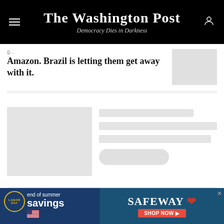The Washington Post — Democracy Dies in Darkness
Amazon. Brazil is letting them get away with it.
[Figure (screenshot): Loading placeholder card with gray thumbnail box on left and three gray skeleton lines plus a pill-shaped skeleton button on right, indicating content loading state]
[Figure (photo): Safeway Labor Day end of summer savings advertisement banner at bottom of page]